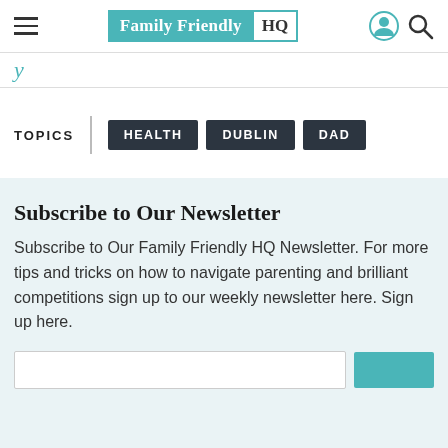Family Friendly HQ
y
TOPICS   HEALTH   DUBLIN   DAD
Subscribe to Our Newsletter
Subscribe to Our Family Friendly HQ Newsletter. For more tips and tricks on how to navigate parenting and brilliant competitions sign up to our weekly newsletter here. Sign up here.